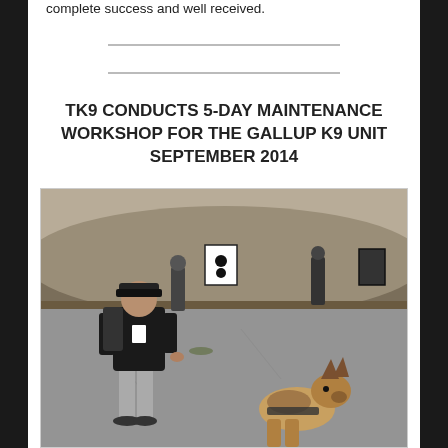complete success and well received.
TK9 CONDUCTS 5-DAY MAINTENANCE WORKSHOP FOR THE GALLUP K9 UNIT SEPTEMBER 2014
[Figure (photo): An instructor working with a German Shepherd dog in a training area, with shooting targets visible in the background and other personnel present.]